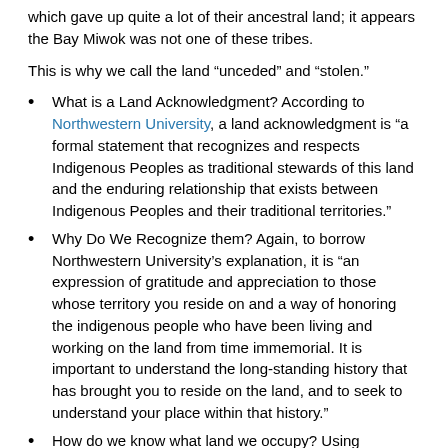which gave up quite a lot of their ancestral land; it appears the Bay Miwok was not one of these tribes.
This is why we call the land “unceded” and “stolen.”
What is a Land Acknowledgment? According to Northwestern University, a land acknowledgment is “a formal statement that recognizes and respects Indigenous Peoples as traditional stewards of this land and the enduring relationship that exists between Indigenous Peoples and their traditional territories.”
Why Do We Recognize them? Again, to borrow Northwestern University’s explanation, it is “an expression of gratitude and appreciation to those whose territory you reside on and a way of honoring the indigenous people who have been living and working on the land from time immemorial. It is important to understand the long-standing history that has brought you to reside on the land, and to seek to understand your place within that history.”
How do we know what land we occupy? Using resources such as San Ramon Valley Museum, the Canadian non-profit Native Land, and extensive research by the East Bay Regional Park District, we